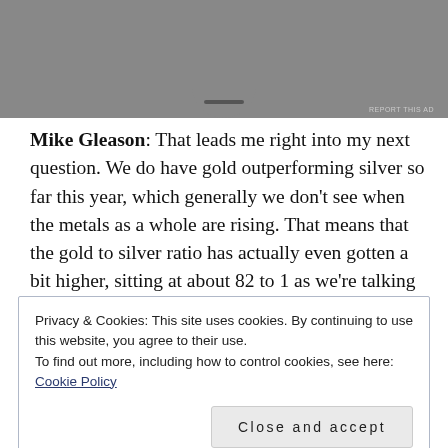[Figure (other): Grey advertisement banner at top of page with notification notch/tab shape and 'REPORT THIS AD' label]
Mike Gleason: That leads me right into my next question. We do have gold outperforming silver so far this year, which generally we don't see when the metals as a whole are rising. That means that the gold to silver ratio has actually even gotten a bit higher, sitting at about 82 to 1 as we're talking here [It's since come back to around 78 – Ed.]. Are you concerned that silver is lagging gold a little bit?
Privacy & Cookies: This site uses cookies. By continuing to use this website, you agree to their use.
To find out more, including how to control cookies, see here: Cookie Policy

Close and accept